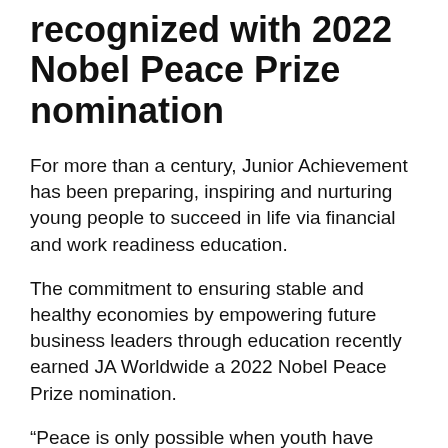recognized with 2022 Nobel Peace Prize nomination
For more than a century, Junior Achievement has been preparing, inspiring and nurturing young people to succeed in life via financial and work readiness education.
The commitment to ensuring stable and healthy economies by empowering future business leaders through education recently earned JA Worldwide a 2022 Nobel Peace Prize nomination.
“Peace is only possible when youth have economic power,” says Asheesh Advani, CEO of JA Worldwide.